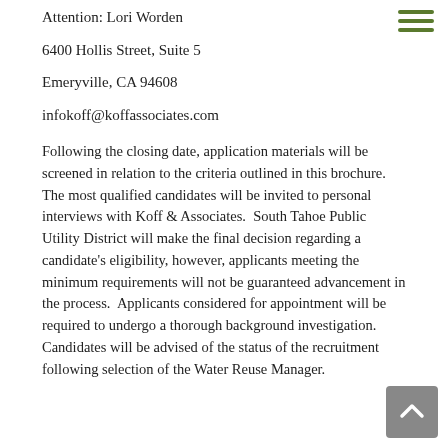Attention: Lori Worden
6400 Hollis Street, Suite 5
Emeryville, CA 94608
infokoff@koffassociates.com
Following the closing date, application materials will be screened in relation to the criteria outlined in this brochure.  The most qualified candidates will be invited to personal interviews with Koff & Associates.  South Tahoe Public Utility District will make the final decision regarding a candidate's eligibility, however, applicants meeting the minimum requirements will not be guaranteed advancement in the process.  Applicants considered for appointment will be required to undergo a thorough background investigation.  Candidates will be advised of the status of the recruitment following selection of the Water Reuse Manager.